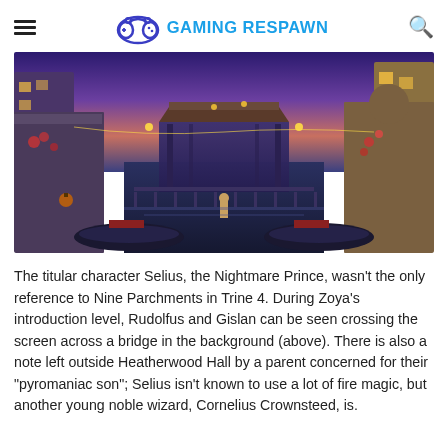≡  GAMING RESPAWN  🔍
[Figure (screenshot): Fantasy game screenshot showing a night-time canal scene with gondolas, an ornate pavilion bridge, glowing lanterns, and colorful buildings with vines and flowers.]
The titular character Selius, the Nightmare Prince, wasn't the only reference to Nine Parchments in Trine 4. During Zoya's introduction level, Rudolfus and Gislan can be seen crossing the screen across a bridge in the background (above). There is also a note left outside Heatherwood Hall by a parent concerned for their "pyromaniac son"; Selius isn't known to use a lot of fire magic, but another young noble wizard, Cornelius Crownsteed, is.